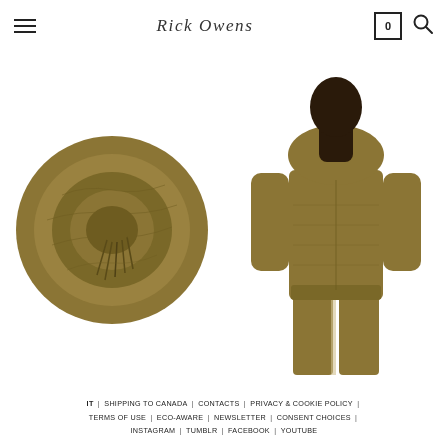Rick Owens — navigation header with hamburger menu, logo, cart (0), search
[Figure (photo): Rolled/bunched olive/khaki knit fabric photographed from above against white background]
[Figure (photo): Model wearing an olive/khaki long-sleeve hooded knit top with matching pants, photographed against white background]
IT | SHIPPING TO CANADA | CONTACTS | PRIVACY & COOKIE POLICY | TERMS OF USE | ECO-AWARE | NEWSLETTER | CONSENT CHOICES | INSTAGRAM | TUMBLR | FACEBOOK | YOUTUBE